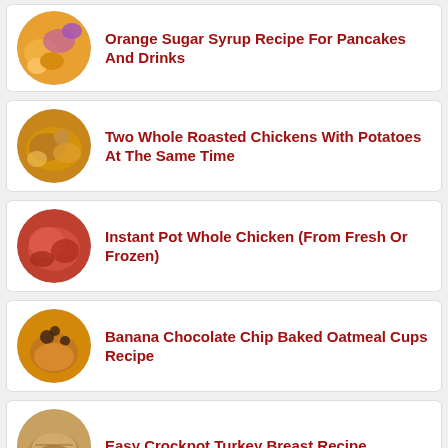Orange Sugar Syrup Recipe For Pancakes And Drinks
Two Whole Roasted Chickens With Potatoes At The Same Time
Instant Pot Whole Chicken (From Fresh Or Frozen)
Banana Chocolate Chip Baked Oatmeal Cups Recipe
Easy Crockpot Turkey Breast Recipe
Honey Candied Pecans - Healthy Clean Eating Recipe With No Added Sugar